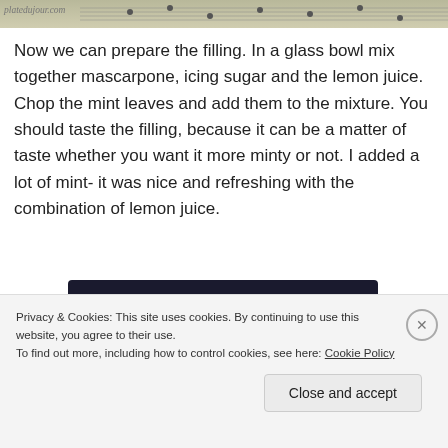[Figure (photo): Partial photo of sheet music with a watermark reading 'platedujour.com']
Now we can prepare the filling. In a glass bowl mix together mascarpone, icing sugar and the lemon juice. Chop the mint leaves and add them to the mixture. You should taste the filling, because it can be a matter of taste whether you want it more minty or not. I added a lot of mint- it was nice and refreshing with the combination of lemon juice.
[Figure (other): Dark advertisement banner with a teal 'Learn More' button]
Privacy & Cookies: This site uses cookies. By continuing to use this website, you agree to their use.
To find out more, including how to control cookies, see here: Cookie Policy
Close and accept